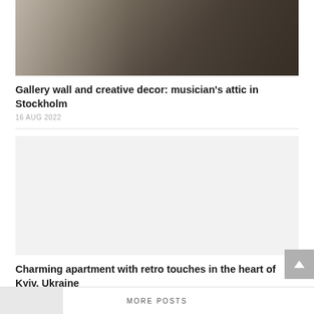[Figure (photo): Interior room photo showing a gallery wall with framed artwork and photos, a guitar, dark sofa with pillows, dark hardwood floor, and coffee table with wine glasses.]
Gallery wall and creative decor: musician's attic in Stockholm
16 AUG 2022
[Figure (photo): Blank/loading image placeholder for apartment interior photo.]
Charming apartment with retro touches in the heart of Kyiv, Ukraine
16 AUG 2022
MORE POSTS